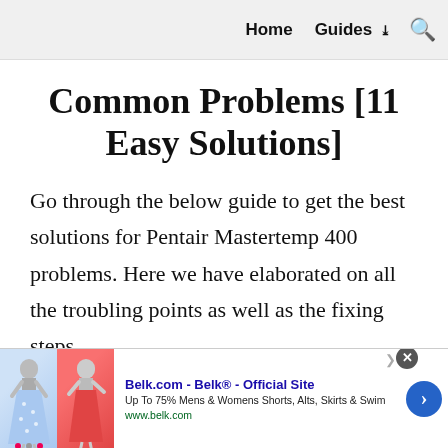Home   Guides ∨   🔍
Common Problems [11 Easy Solutions]
Go through the below guide to get the best solutions for Pentair Mastertemp 400 problems. Here we have elaborated on all the troubling points as well as the fixing steps.
[Figure (other): Advertisement banner for Belk.com showing two skirt-clad figures on left, ad text 'Belk.com - Belk® - Official Site' with subtitle 'Up To 75% Mens & Womens Shorts, Alts, Skirts & Swim' and URL www.belk.com, with a blue right-arrow button and close (×) button.]